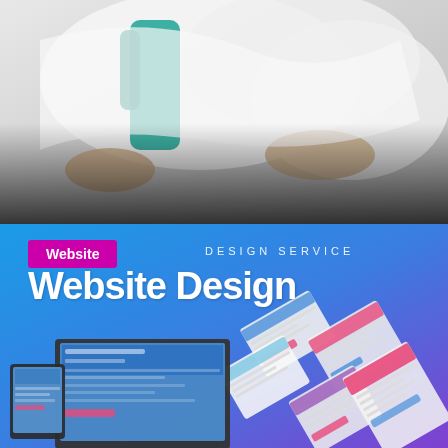[Figure (photo): A person steaming/ironing a white garment with a teal/green handheld steamer against a white background. Hands holding the fabric and steamer are visible. The image fades at the bottom.]
Must-Have Toilet Aids for Disabled and Elderly Users
[Figure (photo): Website design promotional image with a blue-to-purple gradient background. Shows text 'DESIGN SERVICE' and 'Website Design' overlaid. In the foreground is a laptop and tablet displaying website mockups. Behind them are diagonal cards showing various website design templates in colorful layouts.]
Website